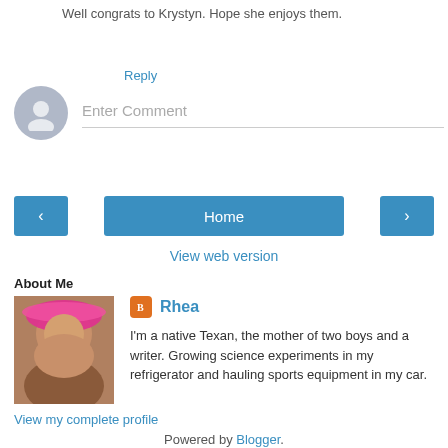Well congrats to Krystyn. Hope she enjoys them.
Reply
[Figure (other): Enter Comment input field with user avatar placeholder]
[Figure (other): Navigation buttons: left arrow, Home, right arrow]
View web version
About Me
[Figure (photo): Profile photo of Rhea wearing a pink hat]
Rhea
I'm a native Texan, the mother of two boys and a writer. Growing science experiments in my refrigerator and hauling sports equipment in my car.
View my complete profile
Powered by Blogger.